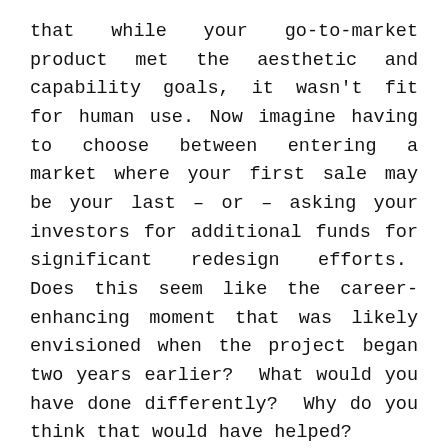that while your go-to-market product met the aesthetic and capability goals, it wasn't fit for human use. Now imagine having to choose between entering a market where your first sale may be your last – or – asking your investors for additional funds for significant redesign efforts. Does this seem like the career-enhancing moment that was likely envisioned when the project began two years earlier? What would you have done differently? Why do you think that would have helped?
Our experience with many companies, over many years, indicates the scenarios presented in these first two posts are not only common,